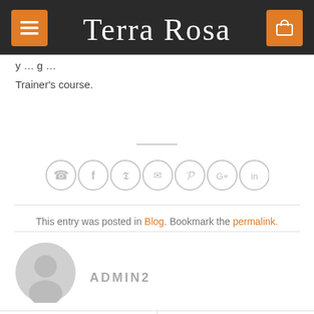Terra Rosa
…y … g … Trainer's course.
[Figure (infographic): Row of 7 social sharing icon circles: phone, Facebook, Twitter, email, Pinterest, Google+, LinkedIn]
This entry was posted in Blog. Bookmark the permalink.
[Figure (illustration): Grey circular avatar/user profile silhouette icon]
ADMIN2
Exercise to Strengthen your hip muscles
Fascia as an organ of Communication